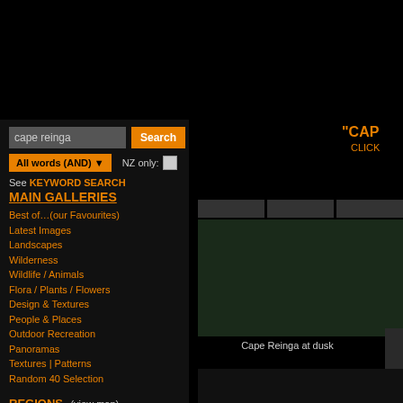[Figure (screenshot): Website search interface with left navigation panel on dark background. Search box with 'cape reinga' text, Search button, All words (AND) filter, NZ only checkbox, keyword search links, Main Galleries navigation list, Regions navigation list.]
See KEYWORD SEARCH
MAIN GALLERIES
Best of…(our Favourites)
Latest Images
Landscapes
Wilderness
Wildlife / Animals
Flora / Plants / Flowers
Design & Textures
People & Places
Outdoor Recreation
Panoramas
Textures | Patterns
Random 40 Selection
REGIONS (view map)
Northland
Auckland
Waikato
Bay of Plenty
Gisborne
Taranaki
Hawke's Bay / Napier
Manawatu-Wanganui
Cape Reinga at dusk
Cape Maria van Di... Reinga